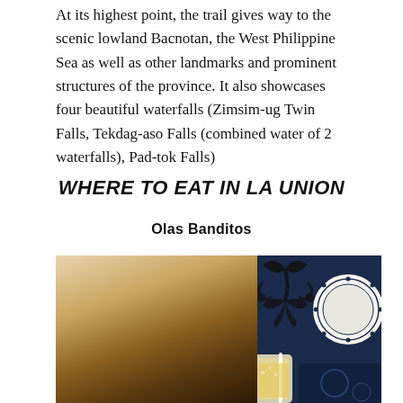At its highest point, the trail gives way to the scenic lowland Bacnotan, the West Philippine Sea as well as other landmarks and prominent structures of the province. It also showcases four beautiful waterfalls (Zimsim-ug Twin Falls, Tekdag-aso Falls (combined water of 2 waterfalls), Pad-tok Falls)
WHERE TO EAT IN LA UNION
Olas Banditos
[Figure (photo): Food photo showing a grilled flatbread/fish dish with colorful salsa toppings in a foil tray, alongside a drink with a straw, on a decorative blue and white patterned tile background]